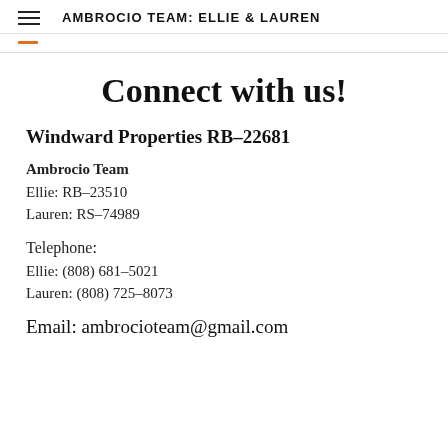AMBROCIO TEAM: ELLIE & LAUREN
Connect with us!
Windward Properties RB-22681
Ambrocio Team
Ellie: RB-23510
Lauren: RS-74989
Telephone:
Ellie: (808) 681-5021
Lauren: (808) 725-8073
Email: ambrocioteam@gmail.com